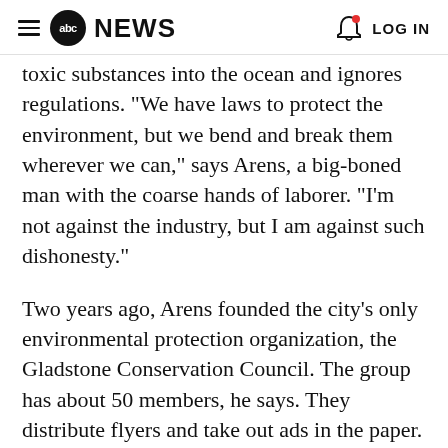abc NEWS   LOG IN
toxic substances into the ocean and ignores regulations. "We have laws to protect the environment, but we bend and break them wherever we can," says Arens, a big-boned man with the coarse hands of laborer. "I'm not against the industry, but I am against such dishonesty."
Two years ago, Arens founded the city's only environmental protection organization, the Gladstone Conservation Council. The group has about 50 members, he says. They distribute flyers and take out ads in the paper. But the response has been modest. "I want my children to be able to say one day that at least